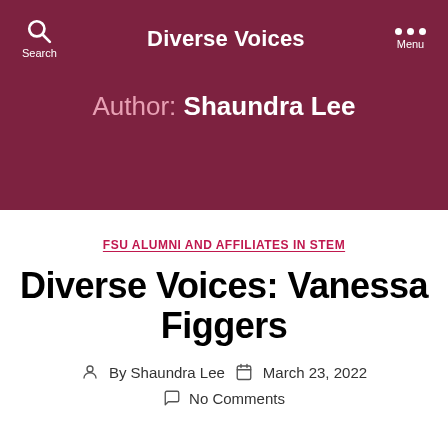Diverse Voices
Author: Shaundra Lee
FSU ALUMNI AND AFFILIATES IN STEM
Diverse Voices: Vanessa Figgers
By Shaundra Lee  March 23, 2022
No Comments